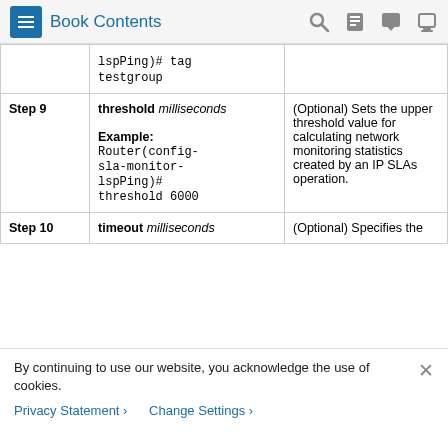Book Contents
| Step | Command | Description |
| --- | --- | --- |
|  | lspPing)# tag testgroup |  |
| Step 9 | threshold milliseconds

Example:
Router(config-sla-monitor-lspPing)# threshold 6000 | (Optional) Sets the upper threshold value for calculating network monitoring statistics created by an IP SLAs operation. |
| Step 10 | timeout milliseconds | (Optional) Specifies the |
By continuing to use our website, you acknowledge the use of cookies.
Privacy Statement > Change Settings >